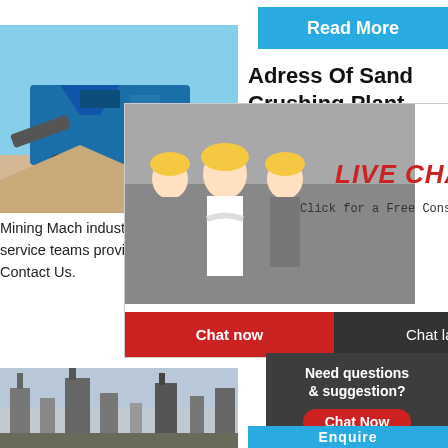[Figure (photo): Blue mobile crushing/screening machine on sandy ground against blue sky]
[Figure (screenshot): Read More button - blue rectangle with white bold text]
Adress Of Sand Crushing Plant And Machinery For Robo
[Figure (screenshot): Red badge showing 'Hrs Online' text in white]
[Figure (photo): Live Chat popup: construction workers in yellow helmets, red LIVE CHAT italic text, 'Click for a Free Consultation', Chat now (red) and Chat later (dark) buttons]
[Figure (photo): Customer service representative woman with headset smiling]
Mining Mach industrial gri materials, ar supporting p service teams providing 24/7 global prod support. Contact Us.
[Figure (screenshot): Dark grey box: 'Need questions & suggestion?' with red oval Chat Now button]
[Figure (photo): Factory / industrial plant image at bottom left]
[Figure (screenshot): Blue Enquire bar at bottom right]